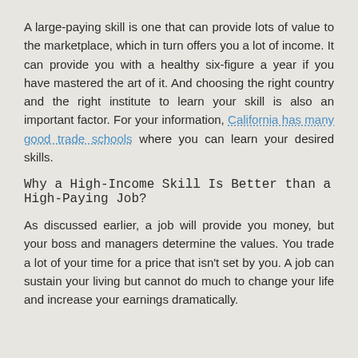A large-paying skill is one that can provide lots of value to the marketplace, which in turn offers you a lot of income. It can provide you with a healthy six-figure a year if you have mastered the art of it. And choosing the right country and the right institute to learn your skill is also an important factor. For your information, California has many good trade schools where you can learn your desired skills.
Why a High-Income Skill Is Better than a High-Paying Job?
As discussed earlier, a job will provide you money, but your boss and managers determine the values. You trade a lot of your time for a price that isn't set by you. A job can sustain your living but cannot do much to change your life and increase your earnings dramatically.